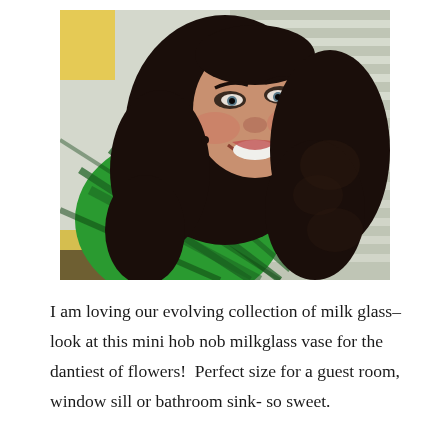[Figure (photo): A smiling woman with long dark curly hair, wearing a green plaid shirt with a gold button, photographed indoors near window blinds. The photo is taken at a slight angle.]
I am loving our evolving collection of milk glass– look at this mini hob nob milkglass vase for the dantiest of flowers!  Perfect size for a guest room, window sill or bathroom sink- so sweet.